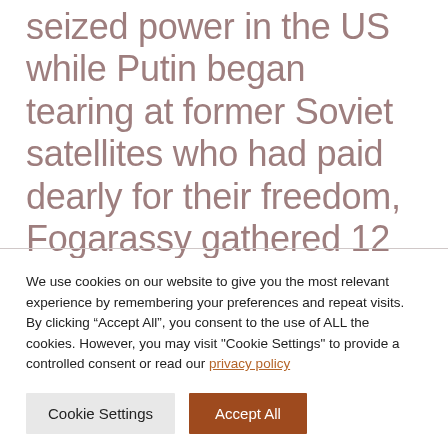seized power in the US while Putin began tearing at former Soviet satellites who had paid dearly for their freedom, Fogarassy gathered 12 years of her essays and published them as an American-Hungarian view of the Trump phenomenon.
We use cookies on our website to give you the most relevant experience by remembering your preferences and repeat visits. By clicking “Accept All”, you consent to the use of ALL the cookies. However, you may visit "Cookie Settings" to provide a controlled consent or read our privacy policy